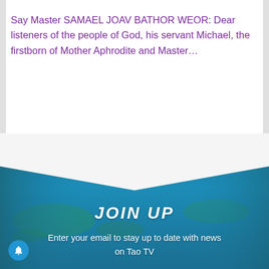Say Master SAMAEL JOAV BATHOR WEOR: Dear listeners of the people of God, his servant Michael, the firstborn of Mother Aphrodite and Master…
[Figure (illustration): Blue teal background banner with a white chevron/arrow shape at the top, aerial lake/island scenery, containing JOIN UP heading and subscription text.]
JOIN UP
Enter your email to stay up to date with news on Tao TV